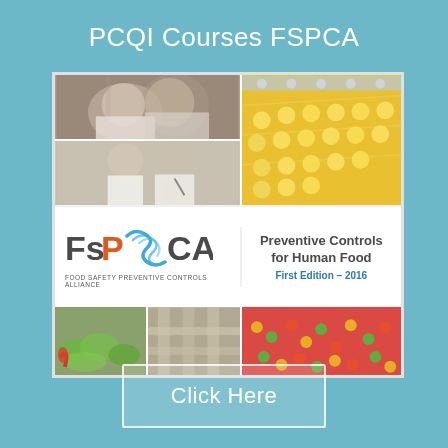PCQI Courses FSPCA
[Figure (photo): FSPCA book cover for Preventive Controls for Human Food, First Edition 2016, with food industry photos and FSPCA logo]
Click Here